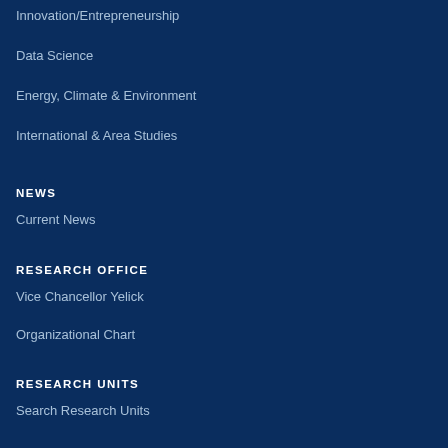Innovation/Entrepreneurship
Data Science
Energy, Climate & Environment
International & Area Studies
NEWS
Current News
RESEARCH OFFICE
Vice Chancellor Yelick
Organizational Chart
RESEARCH UNITS
Search Research Units
Core Facilities
Berkeley Research Infrastructure Commons (RIC)
UCB FACULTY